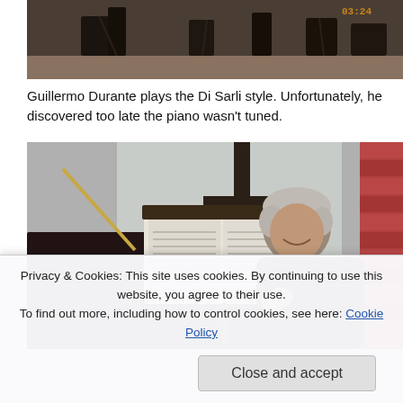[Figure (photo): Top portion of a photo showing musicians on a stage, with stands and equipment visible, cropped at bottom. Orange timestamp visible in top right corner reading 03:24.]
Guillermo Durante plays the Di Sarli style. Unfortunately, he discovered too late the piano wasn't tuned.
[Figure (photo): Photo of an older man with grey hair sitting at a piano, smiling, with sheet music open on the music stand. A brick wall is visible in the background on the right side.]
Privacy & Cookies: This site uses cookies. By continuing to use this website, you agree to their use.
To find out more, including how to control cookies, see here: Cookie Policy